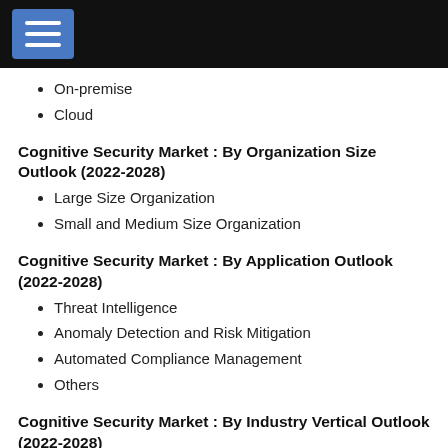On-premise
Cloud
Cognitive Security Market : By Organization Size Outlook (2022-2028)
Large Size Organization
Small and Medium Size Organization
Cognitive Security Market : By Application Outlook (2022-2028)
Threat Intelligence
Anomaly Detection and Risk Mitigation
Automated Compliance Management
Others
Cognitive Security Market : By Industry Vertical Outlook (2022-2028)
BFSI
Retail & Agriculture